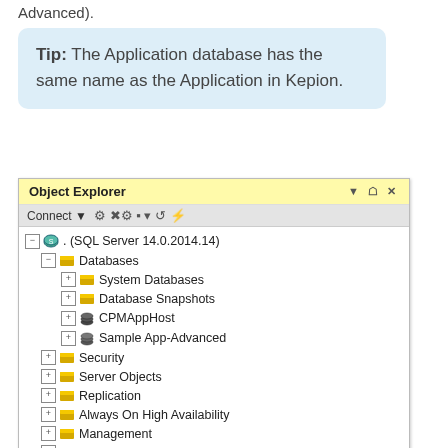Advanced).
Tip: The Application database has the same name as the Application in Kepion.
[Figure (screenshot): SQL Server Management Studio Object Explorer panel showing a tree with: . (SQL Server 14.0.2014.14) > Databases > System Databases, Database Snapshots, CPMAppHost, Sample App-Advanced; Security; Server Objects; Replication; Always On High Availability; Management; Integration Services Catalogs; SQL Server Agent (partially visible)]